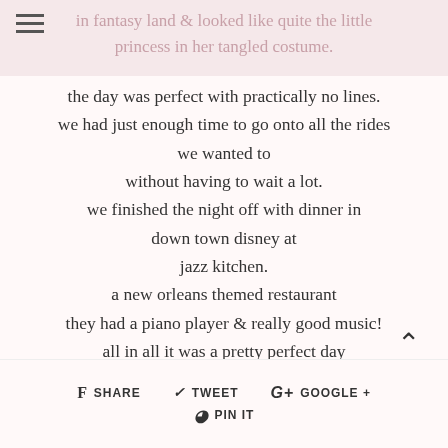in fantasy land & looked like quite the little princess in her tangled costume.
the day was perfect with practically no lines.
we had just enough time to go onto all the rides we wanted to
without having to wait a lot.
we finished the night off with dinner in down town disney at
jazz kitchen.
a new orleans themed restaurant
they had a piano player & really good music!
all in all it was a pretty perfect day
SHARE   TWEET   GOOGLE +   PIN IT